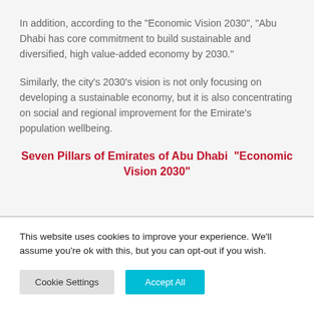In addition, according to the “Economic Vision 2030”, “Abu Dhabi has core commitment to build sustainable and diversified, high value-added economy by 2030.”
Similarly, the city’s 2030’s vision is not only focusing on developing a sustainable economy, but it is also concentrating on social and regional improvement for the Emirate’s population wellbeing.
Seven Pillars of Emirates of Abu Dhabi “Economic Vision 2030”
This website uses cookies to improve your experience. We’ll assume you’re ok with this, but you can opt-out if you wish.